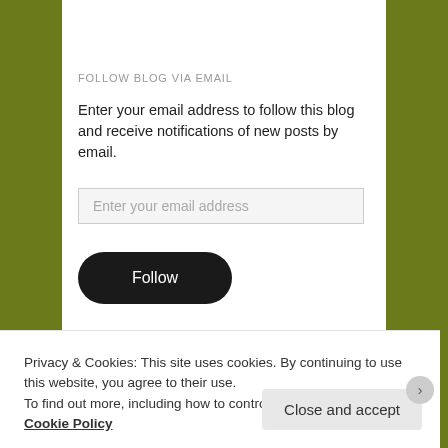FOLLOW BLOG VIA EMAIL
Enter your email address to follow this blog and receive notifications of new posts by email.
[Figure (screenshot): Email address input field with placeholder text 'Enter your email address']
[Figure (screenshot): Follow button — black rounded pill button with white text 'Follow']
Join 10,557 other followers
[Figure (screenshot): Search box with magnifier icon and placeholder text 'Search']
Privacy & Cookies: This site uses cookies. By continuing to use this website, you agree to their use.
To find out more, including how to control cookies, see here: Cookie Policy
[Figure (screenshot): Close and accept button]